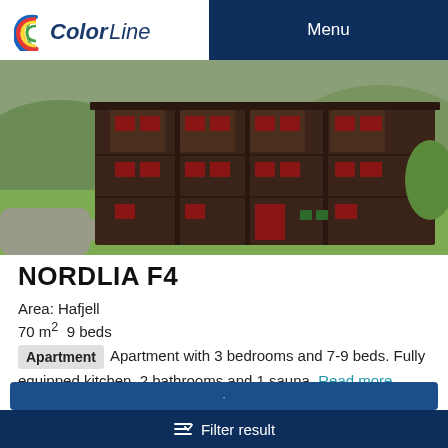Color Line  Menu
[Figure (photo): Exterior photo of a multi-story dark wooden apartment building (Nordlia F4) with balconies, red window frames, green lawn, gravel path, and surrounding trees]
NORDLIA F4
Area: Hafjell
70 m² 9 beds
Apartment  Apartment with 3 bedrooms and 7-9 beds. Fully equipped kitchen, 2 bathrooms and 1 sauna. Read more
Dishwasher   TV   Sauna
Filter result